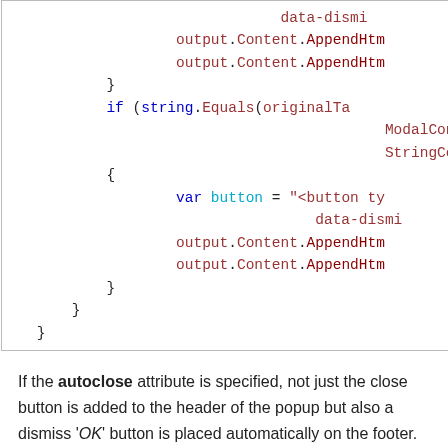[Figure (screenshot): Code snippet showing C# code with output.Content.AppendHtm calls, if (string.Equals(originalTa, ModalConte, StringComp, var button = '<button ty', data-dismi, output.Content.AppendHtm lines, and closing braces]
If the autoclose attribute is specified, not just the close button is added to the header of the popup but also a dismiss 'OK' button is placed automatically on the footer. The MODAL code snippet shown earlier in the article produces just the screenshot in the figure.